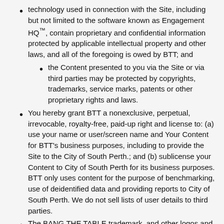technology used in connection with the Site, including but not limited to the software known as Engagement HQ™, contain proprietary and confidential information protected by applicable intellectual property and other laws, and all of the foregoing is owed by BTT; and
the Content presented to you via the Site or via third parties may be protected by copyrights, trademarks, service marks, patents or other proprietary rights and laws.
You hereby grant BTT a nonexclusive, perpetual, irrevocable, royalty-free, paid-up right and license to: (a) use your name or user/screen name and Your Content for BTT's business purposes, including to provide the Site to the City of South Perth.; and (b) sublicense your Content to City of South Perth for its business purposes. BTT only uses content for the purpose of benchmarking, use of deidentified data and providing reports to City of South Perth. We do not sell lists of user details to third parties.
The BANG THE TABLE trademark, and other logos and product and service names used by the BTT, are trademarks of the BTT. You will not display or use the Bang the Table Marks in any manner without express prior...